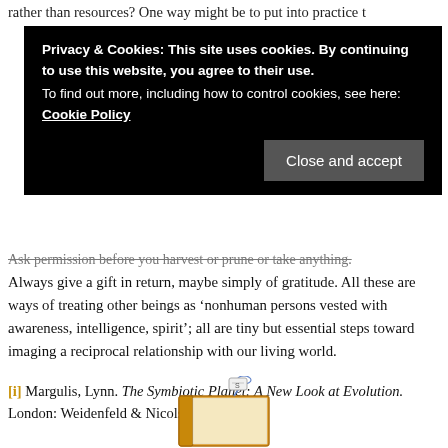rather than resources? One way might be to put into practice t
[Figure (screenshot): Cookie consent overlay banner with black background. Text reads: 'Privacy & Cookies: This site uses cookies. By continuing to use this website, you agree to their use. To find out more, including how to control cookies, see here: Cookie Policy'. A 'Close and accept' button appears at the bottom right.]
Ask permission before you harvest or prune or take anything. Always give a gift in return, maybe simply of gratitude. All these are ways of treating other beings as ‘nonhuman persons vested with awareness, intelligence, spirit’; all are tiny but essential steps toward imaging a reciprocal relationship with our living world.
[i] Margulis, Lynn. The Symbiotic Planet: A New Look at Evolution. London: Weidenfeld & Nicolson, 1998.
[Figure (illustration): Partial illustration of a book with a gift tag, orange/yellow colors, visible at the bottom of the page.]